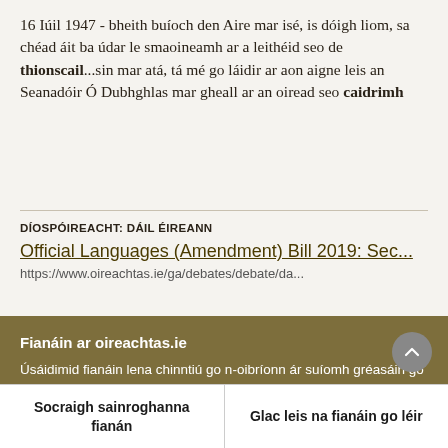16 Iúil 1947 - bheith buíoch den Aire mar isé, is dóigh liom, sa chéad áit ba údar le smaoineamh ar a leithéid seo de thionscail...sin mar atá, tá mé go láidir ar aon aigne leis an Seanadóir Ó Dubhghlas mar gheall ar an oiread seo caidrimh
DÍOSPÓIREACHT: DÁIL ÉIREANN
Official Languages (Amendment) Bill 2019: Sec...
https://www.oireachtas.ie/ga/debates/debate/da...
Fianáin ar oireachtas.ie
Úsáidimid fianáin lena chinntiú go n-oibríonn ár suíomh gréasáin go maith. Ba mhaith linn fianáin anailísíochta agus feidhmiúlachta a úsáid chun cabhrú linn é a fheabhsú ach ní mór dúinn cead a fháil uait sin a dhéanamh. Mura bhfuil tú sásta cead a thabhairt, ní úsáidfear ach fianáin riachtanacha. Léigh tuileadh faoinár bhfianáin
Socraigh sainroghanna fianán
Glac leis na fianáin go léir